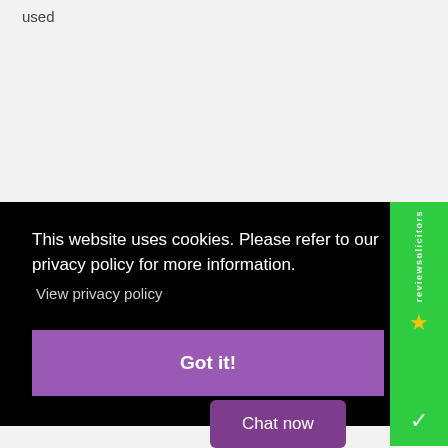used
This website uses cookies. Please refer to our privacy policy for more information.
View privacy policy
Got it!
Chat now